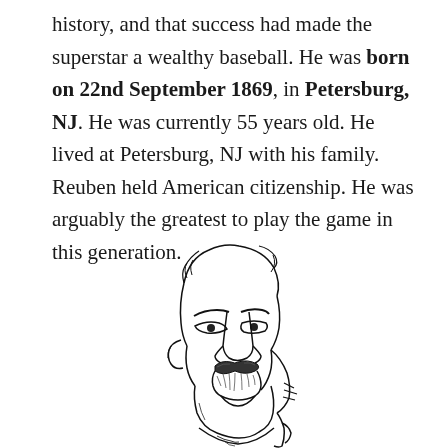history, and that success had made the superstar a wealthy baseball. He was born on 22nd September 1869, in Petersburg, NJ. He was currently 55 years old. He lived at Petersburg, NJ with his family. Reuben held American citizenship. He was arguably the greatest to play the game in this generation.
[Figure (illustration): Black and white line drawing illustration of a mustachioed man's face and upper body, in a classic engraving/portrait style.]